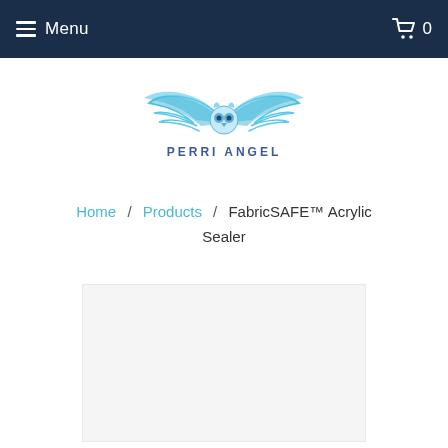Menu   0
[Figure (logo): Perri Angel logo — blue angel wings with owl face and text 'PERRI ANGEL' below]
Home / Products / FabricSAFE™ Acrylic Sealer
[Figure (photo): Product image placeholder — light gray rectangle]